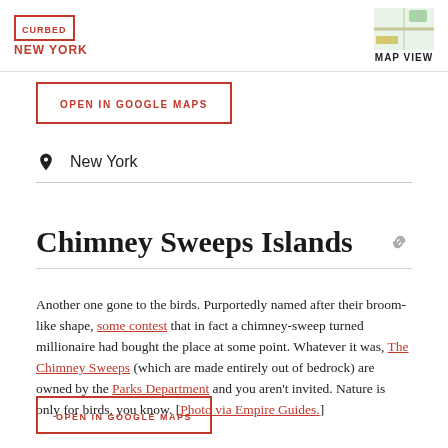CURBED NEW YORK | MAP VIEW
OPEN IN GOOGLE MAPS
New York
Chimney Sweeps Islands
Another one gone to the birds. Purportedly named after their broom-like shape, some contest that in fact a chimney-sweep turned millionaire had bought the place at some point. Whatever it was, The Chimney Sweeps (which are made entirely out of bedrock) are owned by the Parks Department and you aren’t invited. Nature is only for birds, you know. [Photo via Empire Guides.]
OPEN IN GOOGLE MAPS